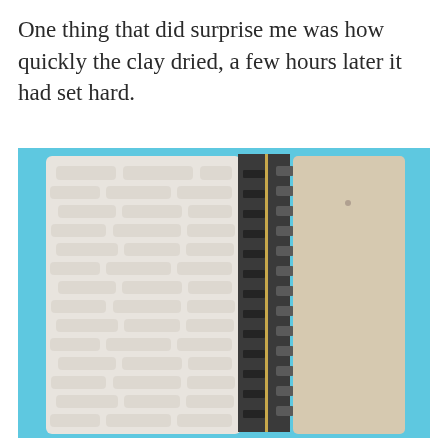One thing that did surprise me was how quickly the clay dried, a few hours later it had set hard.
[Figure (photo): A photograph showing a model railway track section viewed from above, with white textured clay brick wall material on the left half and plain beige/tan card material on the right half, separated by a vertical strip of black model railway track with a narrow gold rail visible. The background is light blue.]